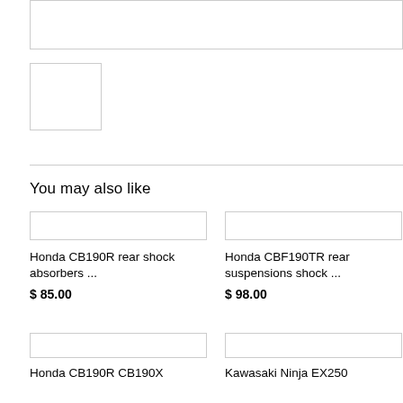[Figure (photo): Wide rectangular image placeholder (top, cropped at top of page)]
[Figure (photo): Small square image placeholder]
You may also like
[Figure (photo): Product image placeholder for Honda CB190R rear shock absorbers]
Honda CB190R rear shock absorbers ...
$ 85.00
[Figure (photo): Product image placeholder for Honda CBF190TR rear suspensions shock]
Honda CBF190TR rear suspensions shock ...
$ 98.00
[Figure (photo): Product image placeholder for Honda CB190R CB190X]
Honda CB190R CB190X
[Figure (photo): Product image placeholder for Kawasaki Ninja EX250]
Kawasaki Ninja EX250